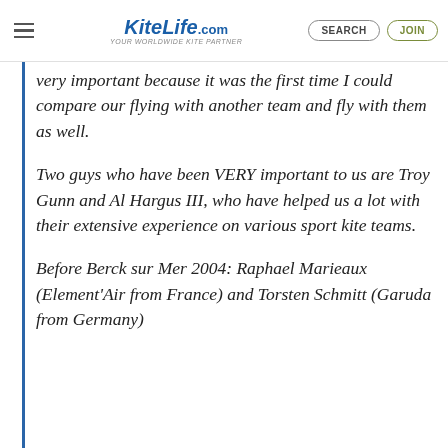KiteLife.com — Your Worldwide Kite Partner | SEARCH | JOIN
In 2001, I had the opportunity to meet Equipo 2600, at Bogotá (Colombia); it was very important because it was the first time I could compare our flying with another team and fly with them as well.
Two guys who have been VERY important to us are Troy Gunn and Al Hargus III, who have helped us a lot with their extensive experience on various sport kite teams.
Before Berck sur Mer 2004: Raphael Marieaux (Element'Air from France) and Torsten Schmitt (Garuda from Germany)